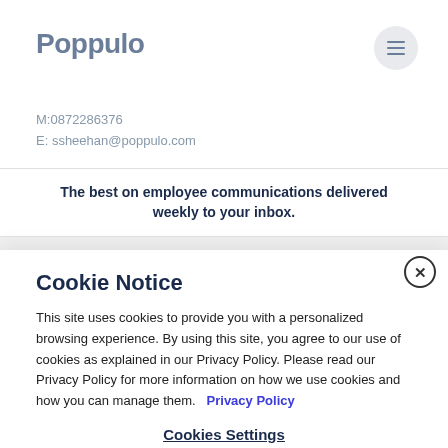[Figure (logo): Poppulo logo in gray-blue text]
M:0872286376
E: ssheehan@poppulo.com
The best on employee communications delivered weekly to your inbox.
Cookie Notice
This site uses cookies to provide you with a personalized browsing experience. By using this site, you agree to our use of cookies as explained in our Privacy Policy. Please read our Privacy Policy for more information on how we use cookies and how you can manage them.  Privacy Policy
Cookies Settings
Reject All